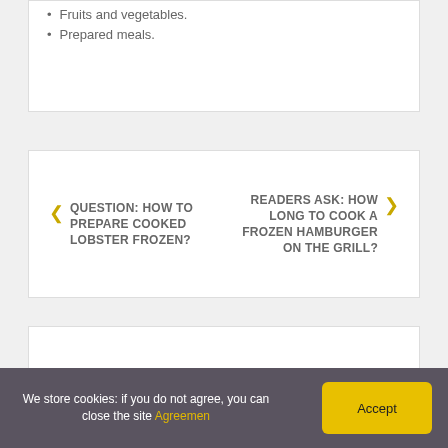Fruits and vegetables.
Prepared meals.
QUESTION: HOW TO PREPARE COOKED LOBSTER FROZEN?
READERS ASK: HOW LONG TO COOK A FROZEN HAMBURGER ON THE GRILL?
We store cookies: if you do not agree, you can close the site Agreemen